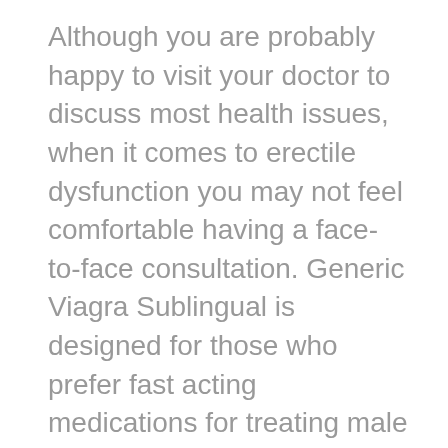Although you are probably happy to visit your doctor to discuss most health issues, when it comes to erectile dysfunction you may not feel comfortable having a face-to-face consultation. Generic Viagra Sublingual is designed for those who prefer fast acting medications for treating male impotence. So Viagra, without a prescription, is a universal solution for everybody, irrespective of the cause of the ED. Absorbed directly into the bloodstream, it acts faster. Worried about erectile